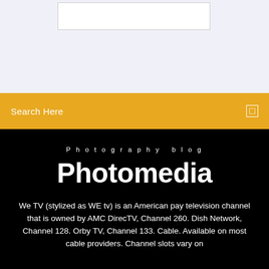[Figure (other): White rectangular image placeholder box on light blue-gray background]
Search Here
Photography blog
Photomedia
We TV (stylized as WE tv) is an American pay television channel that is owned by AMC DirecTV, Channel 260. Dish Network, Channel 128. Orby TV, Channel 133. Cable. Available on most cable providers. Channel slots vary on